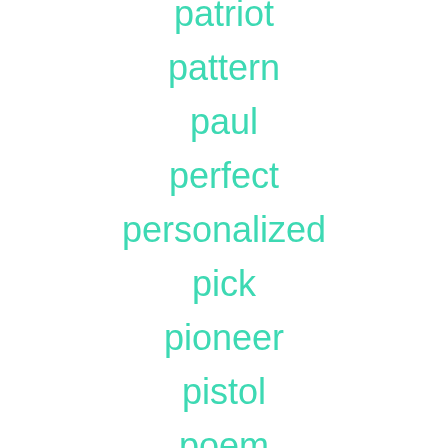patriot
pattern
paul
perfect
personalized
pick
pioneer
pistol
poem
point
police
polish